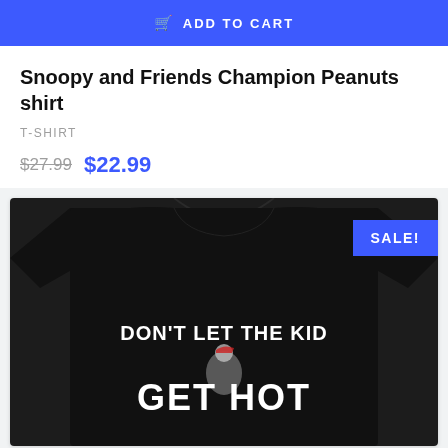ADD TO CART
Snoopy and Friends Champion Peanuts shirt
T-SHIRT
$27.99  $22.99
[Figure (photo): Black t-shirt with text reading 'DON'T LET THE KID GET HOT' with a baseball player graphic, shown with a SALE! badge in the top right corner]